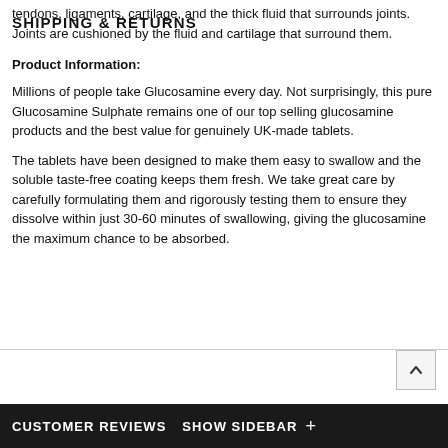tendons, ligaments, cartilage, and the thick fluid that surrounds joints. Joints are cushioned by the fluid and cartilage that surround them.
Product Information:
Millions of people take Glucosamine every day. Not surprisingly, this pure Glucosamine Sulphate remains one of our top selling glucosamine products and the best value for genuinely UK-made tablets.
The tablets have been designed to make them easy to swallow and the soluble taste-free coating keeps them fresh. We take great care by carefully formulating them and rigorously testing them to ensure they dissolve within just 30-60 minutes of swallowing, giving the glucosamine the maximum chance to be absorbed.
SHIPPING & RETURNS
CUSTOMER REVIEWS  SHOW SIDEBAR  +